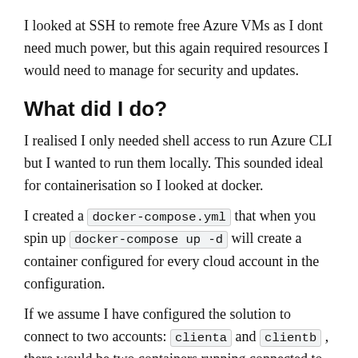I looked at SSH to remote free Azure VMs as I dont need much power, but this again required resources I would need to manage for security and updates.
What did I do?
I realised I only needed shell access to run Azure CLI but I wanted to run them locally. This sounded ideal for containerisation so I looked at docker.
I created a docker-compose.yml that when you spin up docker-compose up -d will create a container configured for every cloud account in the configuration.
If we assume I have configured the solution to connect to two accounts: clienta and clientb , there would be two containers running connected to clienta and